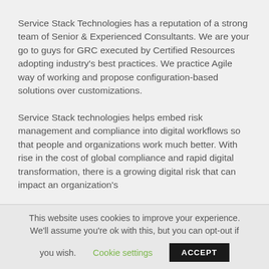Service Stack Technologies has a reputation of a strong team of Senior & Experienced Consultants. We are your go to guys for GRC executed by Certified Resources adopting industry's best practices. We practice Agile way of working and propose configuration-based solutions over customizations.
Service Stack technologies helps embed risk management and compliance into digital workflows so that people and organizations work much better. With rise in the cost of global compliance and rapid digital transformation, there is a growing digital risk that can impact an organization's
This website uses cookies to improve your experience. We'll assume you're ok with this, but you can opt-out if you wish. Cookie settings ACCEPT